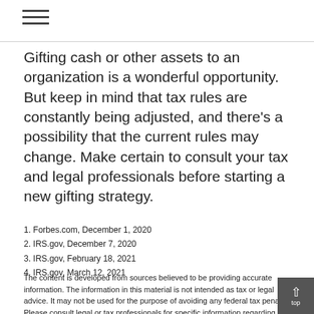Gifting cash or other assets to an organization is a wonderful opportunity. But keep in mind that tax rules are constantly being adjusted, and there’s a possibility that the current rules may change. Make certain to consult your tax and legal professionals before starting a new gifting strategy.
1. Forbes.com, December 1, 2020
2. IRS.gov, December 7, 2020
3. IRS.gov, February 18, 2021
4. IRS.gov, March 12, 2021
The content is developed from sources believed to be providing accurate information. The information in this material is not intended as tax or legal advice. It may not be used for the purpose of avoiding any federal tax penalties. Please consult legal or tax professionals for specific information regarding your individual situation. This material was developed and produced by FMG Suite to provide information on a topic that may be of